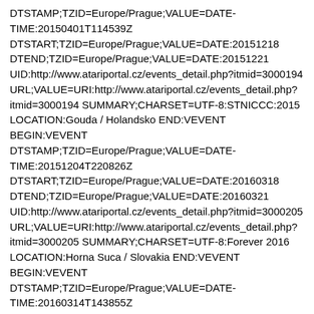DTSTAMP;TZID=Europe/Prague;VALUE=DATE-TIME:20150401T114539Z DTSTART;TZID=Europe/Prague;VALUE=DATE:20151218 DTEND;TZID=Europe/Prague;VALUE=DATE:20151221 UID:http://www.atariportal.cz/events_detail.php?itmid=3000194 URL;VALUE=URI:http://www.atariportal.cz/events_detail.php?itmid=3000194 SUMMARY;CHARSET=UTF-8:STNICCC:2015 LOCATION:Gouda / Holandsko END:VEVENT BEGIN:VEVENT DTSTAMP;TZID=Europe/Prague;VALUE=DATE-TIME:20151204T220826Z DTSTART;TZID=Europe/Prague;VALUE=DATE:20160318 DTEND;TZID=Europe/Prague;VALUE=DATE:20160321 UID:http://www.atariportal.cz/events_detail.php?itmid=3000205 URL;VALUE=URI:http://www.atariportal.cz/events_detail.php?itmid=3000205 SUMMARY;CHARSET=UTF-8:Forever 2016 LOCATION:Horna Suca / Slovakia END:VEVENT BEGIN:VEVENT DTSTAMP;TZID=Europe/Prague;VALUE=DATE-TIME:20160314T143855Z DTSTART;TZID=Europe/Prague;VALUE=DATE:20160401 DTEND;TZID=Europe/Prague;VALUE=DATE:20160404 UID:http://www.atariportal.cz/events_detail.php?itmid=3000212 URL;VALUE=URI:http://www.atariportal.cz/events_detail.php?itmid=3000212 SUMMARY;CHARSET=UTF-8:NOMAM 2016